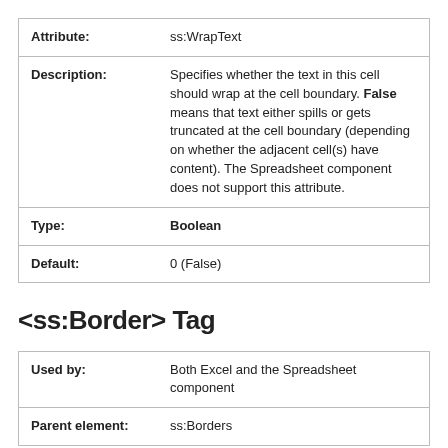| Attribute: | ss:WrapText |
| Description: | Specifies whether the text in this cell should wrap at the cell boundary. False means that text either spills or gets truncated at the cell boundary (depending on whether the adjacent cell(s) have content). The Spreadsheet component does not support this attribute. |
| Type: | Boolean |
| Default: | 0 (False) |
<ss:Border> Tag
| Used by: | Both Excel and the Spreadsheet component |
| Parent element: | ss:Borders |